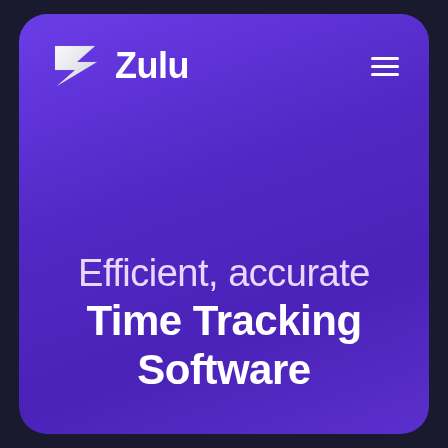[Figure (logo): Zulu brand logo: a white angular zigzag/lightning bolt icon followed by the word 'Zulu' in white bold sans-serif font]
[Figure (infographic): Hamburger menu icon (three horizontal white lines) in the top right corner of the navigation bar]
Efficient, accurate Time Tracking Software